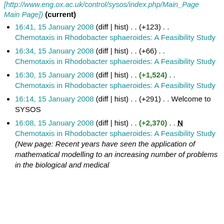[http://www.eng.ox.ac.uk/control/sysos/index.php/Main_Page Main Page]) (current)
16:41, 15 January 2008 (diff | hist) . . (+123) . . Chemotaxis in Rhodobacter sphaeroides: A Feasibility Study
16:34, 15 January 2008 (diff | hist) . . (+66) . . Chemotaxis in Rhodobacter sphaeroides: A Feasibility Study
16:30, 15 January 2008 (diff | hist) . . (+1,524) . . Chemotaxis in Rhodobacter sphaeroides: A Feasibility Study
16:14, 15 January 2008 (diff | hist) . . (+291) . . Welcome to SYSOS
16:08, 15 January 2008 (diff | hist) . . (+2,370) . . N Chemotaxis in Rhodobacter sphaeroides: A Feasibility Study (New page: Recent years have seen the application of mathematical modelling to an increasing number of problems in the biological and medical